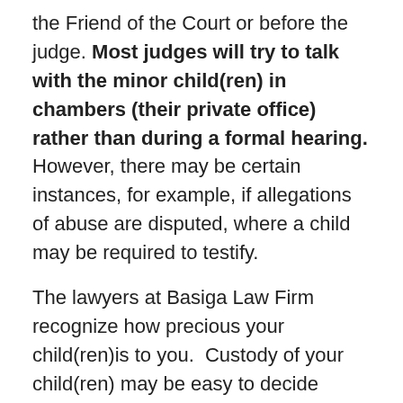the Friend of the Court or before the judge. Most judges will try to talk with the minor child(ren) in chambers (their private office) rather than during a formal hearing. However, there may be certain instances, for example, if allegations of abuse are disputed, where a child may be required to testify.
The lawyers at Basiga Law Firm recognize how precious your child(ren)is to you.  Custody of your child(ren) may be easy to decide between you and the other parent, or it may be a very contentious decision.  We can help you put into writing any agreement that you may have reached outside of the Court. Alternatively, if you and the other parent are unable to reach an agreement, our